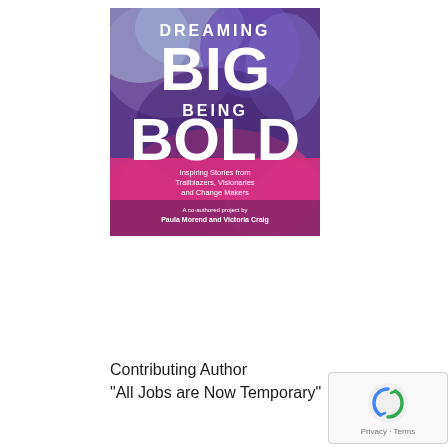[Figure (illustration): Book cover of 'Dreaming Big Being Bold: Inspiring Stories from Trailblazers, Visionaries and Change Makers', a co-authored project by Paula Morend and Victoria Craig. Purple, pink, and blue powder explosion background with large white text.]
Contributing Author
"All Jobs are Now Temporary"